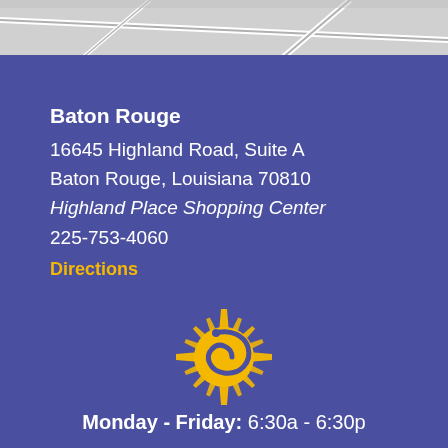[Figure (map): Partial street map background strip at top of page]
Baton Rouge
16645 Highland Road, Suite A
Baton Rouge, Louisiana 70810
Highland Place Shopping Center
225-753-4060
Directions
[Figure (logo): Golden sun/spiral logo]
Monday - Friday: 6:30a - 6:30p